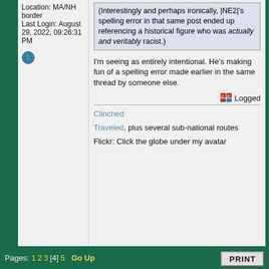Location: MA/NH border
Last Login: August 29, 2022, 09:26:31 PM
[Figure (illustration): Small globe icon (world map)]
(Interestingly and perhaps ironically, |NE2|'s spelling error in that same post ended up referencing a historical figure who was actually and veritably racist.)
I'm seeing as entirely intentional. He's making fun of a spelling error made earlier in the same thread by someone else.
Logged
Clinched
Traveled, plus several sub-national routes
Flickr: Click the globe under my avatar
Pages: 1 2 3 [4] 5  Go Up  PRINT